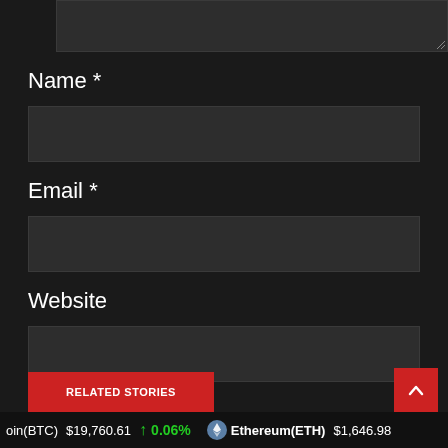[Figure (screenshot): Dark textarea input stub at top of page, partially cropped]
Name *
[Figure (screenshot): Dark input field for Name]
Email *
[Figure (screenshot): Dark input field for Email]
Website
[Figure (screenshot): Dark input field for Website]
POST COMMENT
RELATED STORIES
coin(BTC) $19,760.61 ↑ 0.06% Ethereum(ETH) $1,646.98